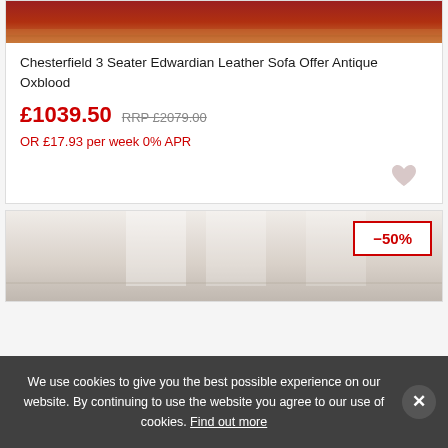[Figure (photo): Top portion of a Chesterfield leather sofa in antique oxblood color, partially cropped at the top]
Chesterfield 3 Seater Edwardian Leather Sofa Offer Antique Oxblood
£1039.50   RRP £2079.00
OR £17.93 per week 0% APR
[Figure (photo): Second product card showing a sofa in a room setting, partially visible, with a -50% discount badge]
We use cookies to give you the best possible experience on our website. By continuing to use the website you agree to our use of cookies. Find out more